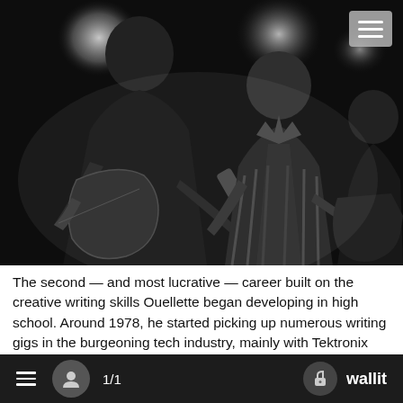[Figure (photo): Black and white photograph of musicians playing electric guitars on stage, with stage lighting in the background. Two main guitarists visible in foreground, a third guitarist partially visible on the right.]
The second — and most lucrative — career built on the creative writing skills Ouellette began developing in high school. Around 1978, he started picking up numerous writing gigs in the burgeoning tech industry, mainly with Tektronix and Intel. This led him to co-found the Karakas VanSickle Ouellette advertising and public relations agency, which grew to become the second larg... the state with more than 150 employees
≡  👤  1/1  🔒 wallit